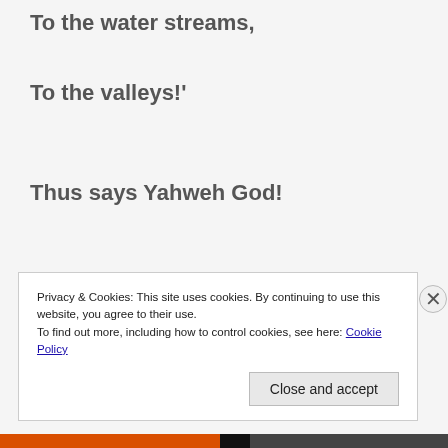To the water streams,
To the valleys!'
Thus says Yahweh God!
'I am speaking
In my jealous wrath!
You have suffered
Privacy & Cookies: This site uses cookies. By continuing to use this website, you agree to their use. To find out more, including how to control cookies, see here: Cookie Policy
Close and accept